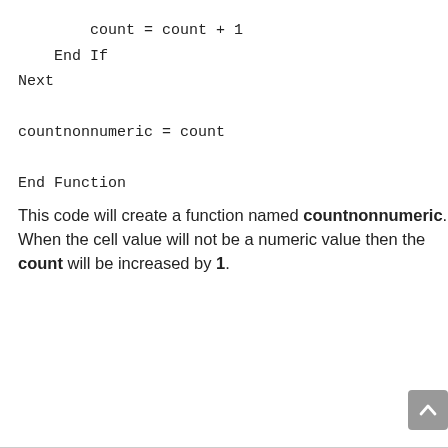count = count + 1
    End If
Next

countnonnumeric = count

End Function
This code will create a function named countnonnumeric. When the cell value will not be a numeric value then the count will be increased by 1.